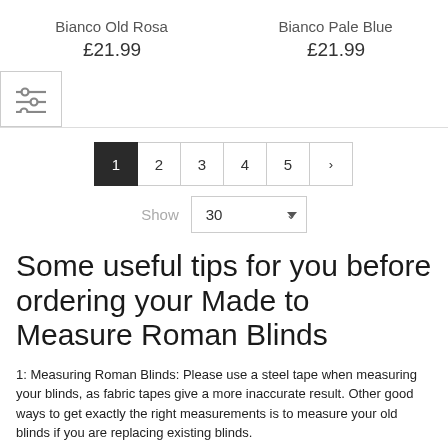Bianco Old Rosa
Bianco Pale Blue
£21.99
£21.99
[Figure (other): Filter/sort icon button with horizontal lines and circles]
1 2 3 4 5 > pagination
Show 30
Some useful tips for you before ordering your Made to Measure Roman Blinds
1: Measuring Roman Blinds: Please use a steel tape when measuring your blinds, as fabric tapes give a more inaccurate result. Other good ways to get exactly the right measurements is to measure your old blinds if you are replacing existing blinds.